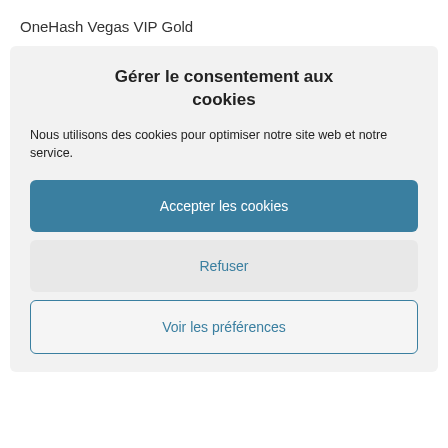OneHash Vegas VIP Gold
Gérer le consentement aux cookies
Nous utilisons des cookies pour optimiser notre site web et notre service.
Accepter les cookies
Refuser
Voir les préférences